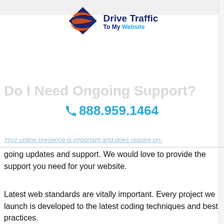[Figure (logo): Drive Traffic To My Website logo with swoosh icon]
Do I Need Ongoing Support?
📞 888.959.1464
Your online presence is important and does require on-going updates and support. We would love to provide the support you need for your website.
Latest web standards are vitally important. Every project we launch is developed to the latest coding techniques and best practices.
TECHNICAL SUPPORT